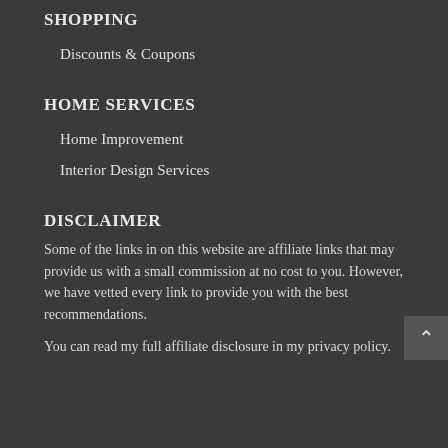SHOPPING
Discounts & Coupons
HOME SERVICES
Home Improvement
Interior Design Services
DISCLAIMER
Some of the links in on this website are affiliate links that may provide us with a small commission at no cost to you. However, we have vetted every link to provide you with the best recommendations.
You can read my full affiliate disclosure in my privacy policy.